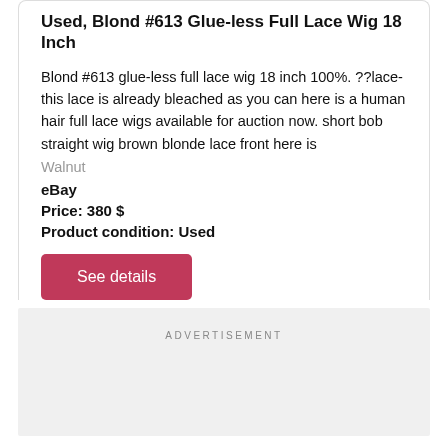Used, Blond #613 Glue-less Full Lace Wig 18 Inch
Blond #613 glue-less full lace wig 18 inch 100%. ??lace- this lace is already bleached as you can here is a human hair full lace wigs available for auction now. short bob straight wig brown blonde lace front here is
Walnut
eBay
Price: 380 $
Product condition: Used
See details
ADVERTISEMENT